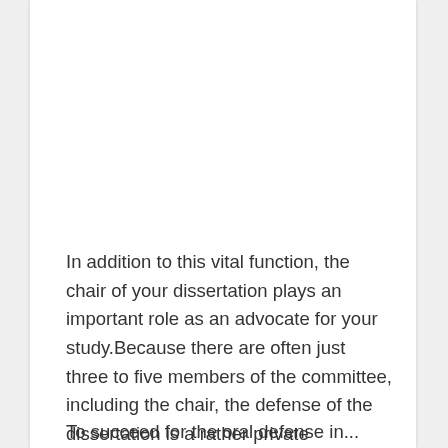In addition to this vital function, the chair of your dissertation plays an important role as an advocate for your study.Because there are often just three to five members of the committee, including the chair, the defense of the dissertation is a rather private event.How Do I Make an Argument in Support of My Dissertation?
To succeed for the oral defense in...